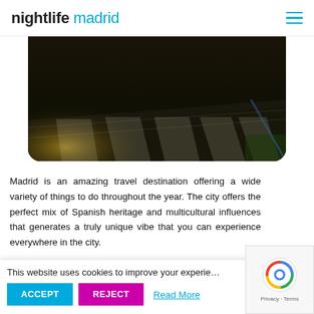nightlife madrid
[Figure (photo): Dark nighttime street scene viewed from above, showing a wet road with pedestrian crossing stripes and greenery in the corner, with amber light reflections]
Madrid is an amazing travel destination offering a wide variety of things to do throughout the year. The city offers the perfect mix of Spanish heritage and multicultural influences that generates a truly unique vibe that you can experience everywhere in the city.
The city center is compact, allowing you to see a lot of
This website uses cookies to improve your experie…
ACCEPT   REJECT   Read More